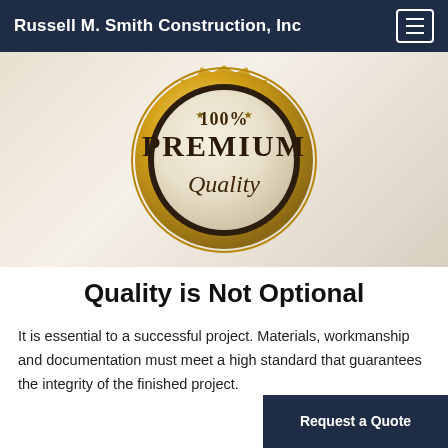Russell M. Smith Construction, Inc
[Figure (illustration): A gold and black premium quality badge/seal with text '100% PREMIUM Quality' on a light beige background]
Quality is Not Optional
It is essential to a successful project. Materials, workmanship and documentation must meet a high standard that guarantees the integrity of the finished project.
Request a Quote